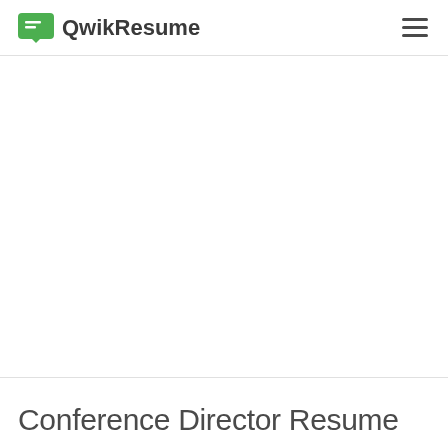QwikResume
Conference Director Resume